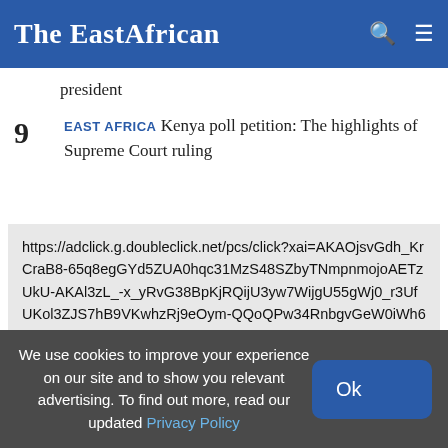The EastAfrican
president
9 EAST AFRICA Kenya poll petition: The highlights of Supreme Court ruling
https://adclick.g.doubleclick.net/pcs/click?xai=AKAOjsvGdh_KrCraB8-65q8egGYd5ZUA0hqc31MzS48SZbyTNmpnmojoAETzUkU-AKAl3zL_-x_yRvG38BpKjRQijU3yw7WijgU55gWj0_r3UfUKol3ZJS7hB9VKwhzRj9eOym-QQoQPw34RnbgvGeW0iWh68wchMpJVESfP4Sl8iLR4zrQRgpnQWFqqid0BYa_v7&sai=AYT7aILm4atKlzYwJQA9z
We use cookies to improve your experience on our site and to show you relevant advertising. To find out more, read our updated Privacy Policy